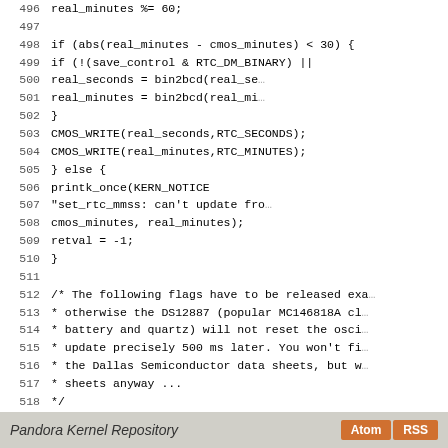[Figure (screenshot): Source code listing showing lines 496-524 of a C kernel file with line numbers and code text]
Pandora Kernel Repository  Atom  RSS